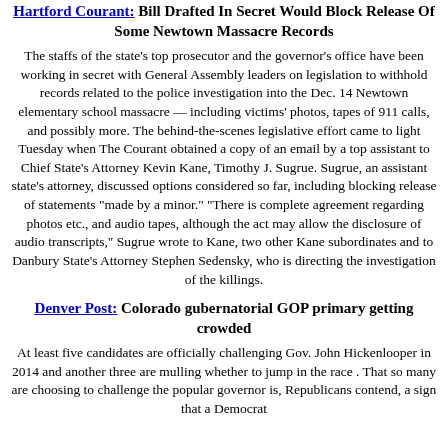Hartford Courant: Bill Drafted In Secret Would Block Release Of Some Newtown Massacre Records
The staffs of the state's top prosecutor and the governor's office have been working in secret with General Assembly leaders on legislation to withhold records related to the police investigation into the Dec. 14 Newtown elementary school massacre — including victims' photos, tapes of 911 calls, and possibly more. The behind-the-scenes legislative effort came to light Tuesday when The Courant obtained a copy of an email by a top assistant to Chief State's Attorney Kevin Kane, Timothy J. Sugrue. Sugrue, an assistant state's attorney, discussed options considered so far, including blocking release of statements "made by a minor." "There is complete agreement regarding photos etc., and audio tapes, although the act may allow the disclosure of audio transcripts," Sugrue wrote to Kane, two other Kane subordinates and to Danbury State's Attorney Stephen Sedensky, who is directing the investigation of the killings.
Denver Post: Colorado gubernatorial GOP primary getting crowded
At least five candidates are officially challenging Gov. John Hickenlooper in 2014 and another three are mulling whether to jump in the race . That so many are choosing to challenge the popular governor is, Republicans contend, a sign that a Democrat